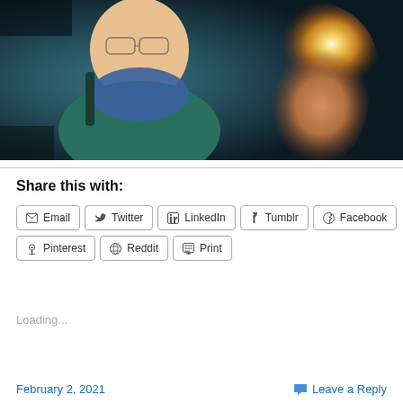[Figure (photo): A selfie photo showing a person wearing glasses, a teal/dark green jacket and a blue scarf, with a backpack. To the right is a partially visible figure or statue with warm golden/amber lighting.]
Share this with:
Email
Twitter
LinkedIn
Tumblr
Facebook
Pinterest
Reddit
Print
Loading...
February 2, 2021   Leave a Reply